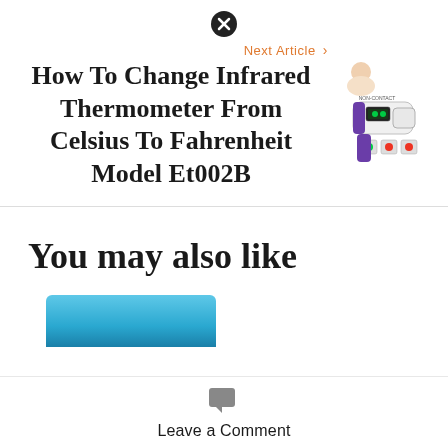[Figure (other): Close/dismiss button icon (circled X)]
Next Article >
How To Change Infrared Thermometer From Celsius To Fahrenheit Model Et002B
[Figure (photo): Non-contact infrared thermometer product image with baby illustration]
You may also like
[Figure (photo): Partially visible blue product image at bottom]
Leave a Comment